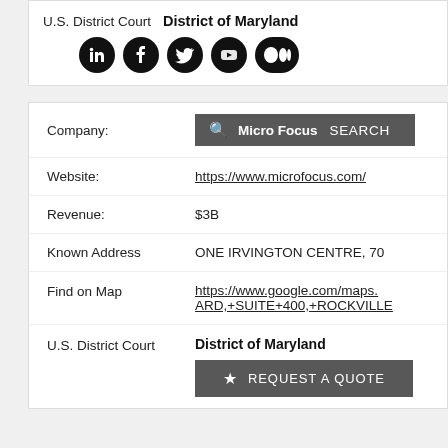U.S. District Court   District of Maryland
[Figure (infographic): Social media icons: LinkedIn, Facebook, Twitter, YouTube, Medium]
| Company: | Micro Focus |
| Website: | https://www.microfocus.com/ |
| Revenue: | $3B |
| Known Address | ONE IRVINGTON CENTRE, 70... |
| Find on Map | https://www.google.com/maps...ARD,+SUITE+400,+ROCKVILLE |
| U.S. District Court | District of Maryland |